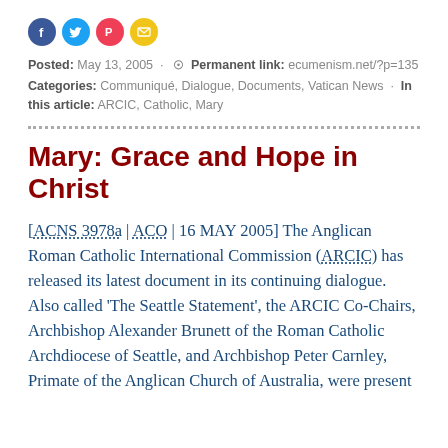[Figure (other): Social media sharing icons: Facebook (blue circle), Twitter (light blue circle), Pocket (red circle), Email (yellow circle)]
Posted: May 13, 2005 · Permanent link: ecumenism.net/?p=135
Categories: Communiqué, Dialogue, Documents, Vatican News · In this article: ARCIC, Catholic, Mary
Mary: Grace and Hope in Christ
[ACNS 3978a | ACO | 16 MAY 2005] The Anglican Roman Catholic International Commission (ARCIC) has released its latest document in its continuing dialogue. Also called 'The Seattle Statement', the ARCIC Co-Chairs, Archbishop Alexander Brunett of the Roman Catholic Archdiocese of Seattle, and Archbishop Peter Carnley, Primate of the Anglican Church of Australia, were present